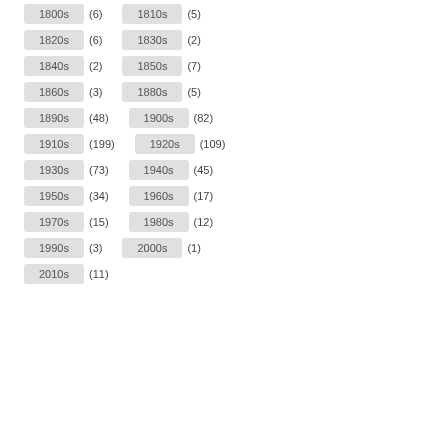1800s (6)  1810s (5)
1820s (6)  1830s (2)
1840s (2)  1850s (7)
1860s (3)  1880s (5)
1890s (48)  1900s (82)
1910s (199)  1920s (109)
1930s (73)  1940s (45)
1950s (34)  1960s (17)
1970s (15)  1980s (12)
1990s (3)  2000s (1)
2010s (11)